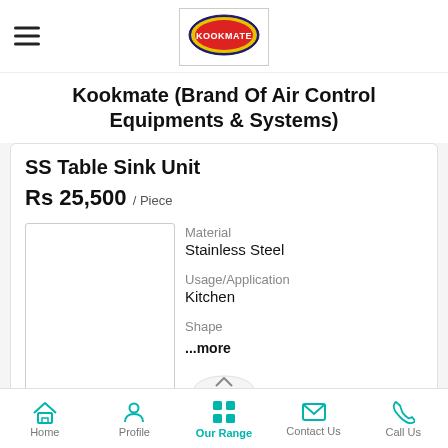Kookmate logo header with hamburger menu
Kookmate (Brand Of Air Control Equipments & Systems)
SS Table Sink Unit
Rs 25,500 / Piece
[Figure (photo): Product image placeholder for SS Table Sink Unit]
Material
Stainless Steel
Usage/Application
Kitchen
Shape
...more
Home | Profile | Our Range | Contact Us | Call Us